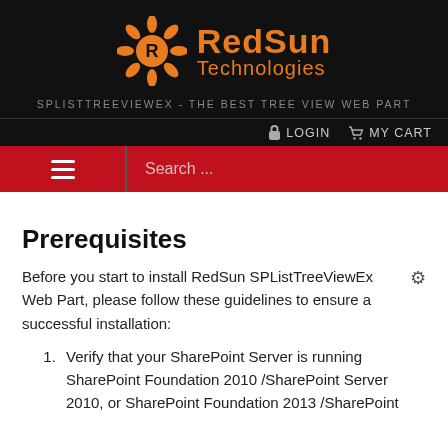[Figure (logo): RedSun Technologies logo with orange sunflower/flame icon and orange text 'RedSun Technologies' on dark background]
SPLISTTREEVIEWEX - THE BEST TREE VIEW WEB PART
LOGIN   MY CART
Prerequisites
Before you start to install RedSun SPListTreeViewEx Web Part, please follow these guidelines to ensure a successful installation:
Verify that your SharePoint Server is running SharePoint Foundation 2010 /SharePoint Server 2010, or SharePoint Foundation 2013 /SharePoint